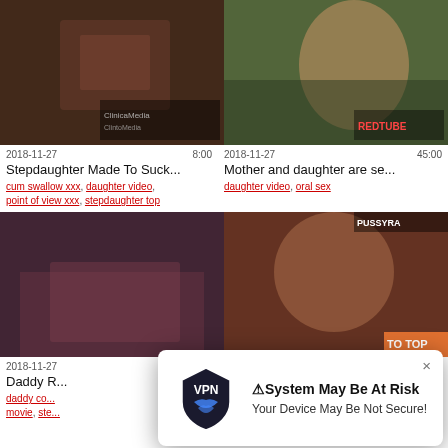[Figure (screenshot): Video thumbnail - adult content, close-up shot with watermark ClinioMedia]
[Figure (screenshot): Video thumbnail - woman in car on phone, REDTUBE watermark]
2018-11-27   8:00
Stepdaughter Made To Suck...
cum swallow xxx, daughter video, point of view xxx, stepdaughter top
2018-11-27   45:00
Mother and daughter are se...
daughter video, oral sex
[Figure (screenshot): Video thumbnail - adult content on couch scene]
[Figure (screenshot): Video thumbnail - adult content, PUSSYRA watermark, TO TOP button]
2018-11-27  Daddy R...
daddy co... movie, ste...
[Figure (infographic): VPN popup ad: System May Be At Risk - Your Device May Be Not Secure! with VPN shield logo]
[Figure (screenshot): Partially visible bottom row thumbnails]